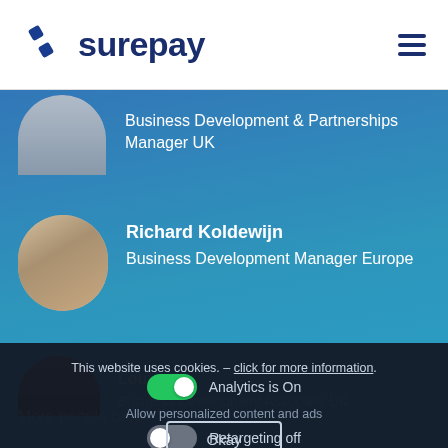[Figure (logo): Surepay logo with blue diagonal stripe icon and 'surepay' text in dark navy blue, plus hamburger menu icon on the right]
Business Development & Partnerships Manager UK
Richard Koldewijn
Business Development Manager Europe
Business Development Associate UK
More people beh...
This website uses cookies. - click for more information.
Analytics is On
Allow personalized content and ads
Retargeting off
Okay